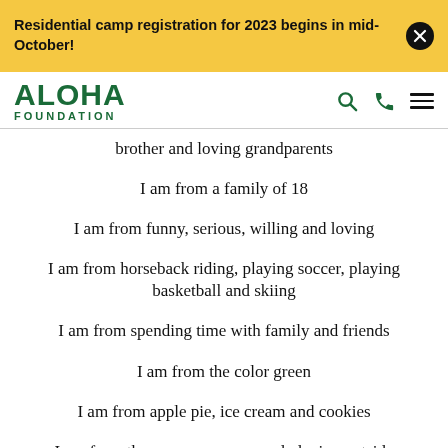Residential camp registration for 2023 begins in mid-October!
[Figure (logo): Aloha Foundation logo with search, phone, and menu icons]
brother and loving grandparents
I am from a family of 18
I am from funny, serious, willing and loving
I am from horseback riding, playing soccer, playing basketball and skiing
I am from spending time with family and friends
I am from the color green
I am from apple pie, ice cream and cookies
I am from the season summer and playing outside